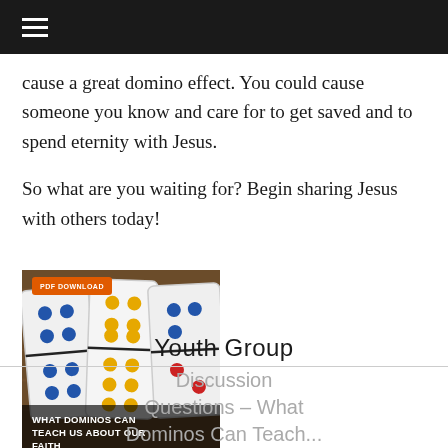cause a great domino effect. You could cause someone you know and care for to get saved and to spend eternity with Jesus.
So what are you waiting for? Begin sharing Jesus with others today!
[Figure (photo): Photo of domino tiles standing upright with text overlay reading 'WHAT DOMINOS CAN TEACH US ABOUT OUR FAITH' and an orange badge reading 'PDF DOWNLOAD']
Youth Group Discussion Questions – What Dominos Can Teach...